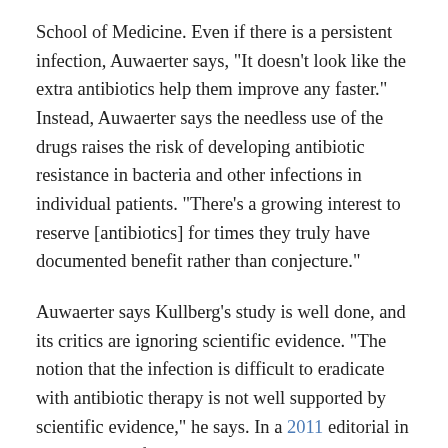School of Medicine. Even if there is a persistent infection, Auwaerter says, "It doesn't look like the extra antibiotics help them improve any faster." Instead, Auwaerter says the needless use of the drugs raises the risk of developing antibiotic resistance in bacteria and other infections in individual patients. "There's a growing interest to reserve [antibiotics] for times they truly have documented benefit rather than conjecture."
Auwaerter says Kullberg's study is well done, and its critics are ignoring scientific evidence. "The notion that the infection is difficult to eradicate with antibiotic therapy is not well supported by scientific evidence," he says. In a 2011 editorial in The Lancet Infectious Diseases, Auwaerter and coauthors criticized organizations including ILADS of creating "a parallel universe of pseudoscientific practitioners,